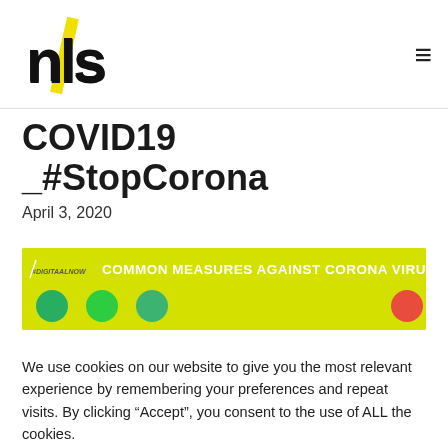COVID19 _#StopCorona
April 3, 2020
[Figure (infographic): Yellow banner with text 'COMMON MEASURES AGAINST CORONA VIRUS' with a logo on the left and colored circles (green, green, green, red) below]
We use cookies on our website to give you the most relevant experience by remembering your preferences and repeat visits. By clicking “Accept”, you consent to the use of ALL the cookies.
Cookie settings  ACCEPT